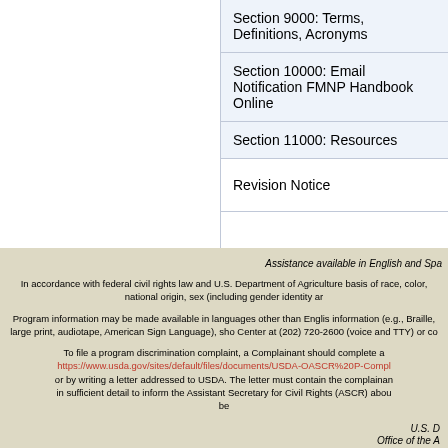| Section 9000: Terms, Definitions, Acronyms |
| Section 10000: Email Notification FMNP Handbook Online |
| Section 11000: Resources |
| Revision Notice |
Assistance available in English and Spanish
In accordance with federal civil rights law and U.S. Department of Agriculture basis of race, color, national origin, sex (including gender identity ar
Program information may be made available in languages other than English. information (e.g., Braille, large print, audiotape, American Sign Language), sho Center at (202) 720-2600 (voice and TTY) or co
To file a program discrimination complaint, a Complainant should complete a https://www.usda.gov/sites/default/files/documents/USDA-OASCR%20P-Compl or by writing a letter addressed to USDA. The letter must contain the complainan in sufficient detail to inform the Assistant Secretary for Civil Rights (ASCR) abou be
U.S. D
Office of the A